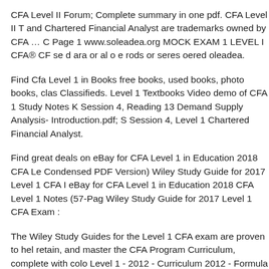CFA Level II Forum; Complete summary in one pdf. CFA Level II T and Chartered Financial Analyst are trademarks owned by CFA … C Page 1 www.soleadea.org MOCK EXAM 1 LEVEL I CFA® CF se d ara or al o e rods or seres oered oleadea.
Find Cfa Level 1 in Books free books, used books, photo books, clas Classifieds. Level 1 Textbooks Video demo of CFA 1 Study Notes K Session 4, Reading 13 Demand Supply Analysis- Introduction.pdf; S Session 4, Level 1 Chartered Financial Analyst.
Find great deals on eBay for CFA Level 1 in Education 2018 CFA Le Condensed PDF Version) Wiley Study Guide for 2017 Level 1 CFA I eBay for CFA Level 1 in Education 2018 CFA Level 1 Notes (57-Pag Wiley Study Guide for 2017 Level 1 CFA Exam :
The Wiley Study Guides for the Level 1 CFA exam are proven to hel retain, and master the CFA Program Curriculum, complete with colo Level 1 - 2012 - Curriculum 2012 - Formula Sheet by Elan Guide Fo 1.30 Mb Download Link: Study Report on Employment and